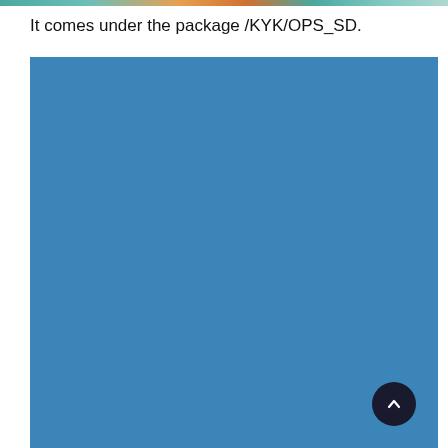[Figure (photo): Partial top strip of a colorful image, appears to be people or outdoor scene with teal, orange, and brown tones]
It comes under the package /KYK/OPS_SD.
[Figure (photo): Large solid blue rectangle, appears to be a screenshot or image placeholder with steel blue color]
[Figure (other): Dark circular scroll-to-top button with upward arrow in bottom-right corner]